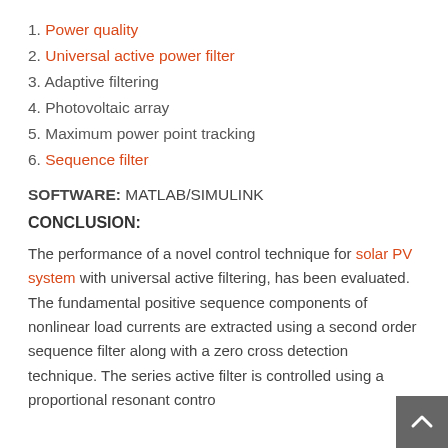1. Power quality
2. Universal active power filter
3. Adaptive filtering
4. Photovoltaic array
5. Maximum power point tracking
6. Sequence filter
SOFTWARE: MATLAB/SIMULINK
CONCLUSION:
The performance of a novel control technique for solar PV system with universal active filtering, has been evaluated. The fundamental positive sequence components of nonlinear load currents are extracted using a second order sequence filter along with a zero cross detection technique. The series active filter is controlled using a proportional resonant contro...